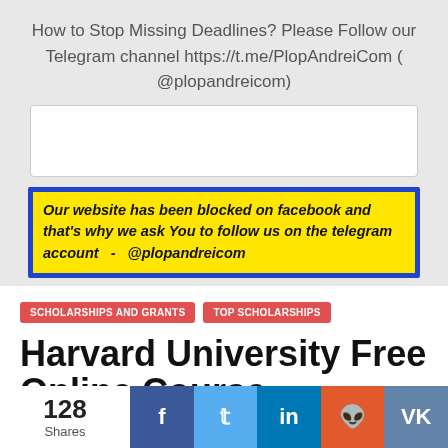How to Stop Missing Deadlines? Please Follow our Telegram channel https://t.me/PlopAndreiCom ( @plopandreicom)
[Figure (other): Empty white input/search box]
Our website has been blocked on facebook and that's why we ask You to follow us on the telegram account  -  @plopandreicom
SCHOLARSHIPS AND GRANTS
TOP SCHOLARSHIPS
Harvard University Free Online Course